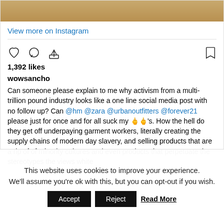[Figure (screenshot): Instagram post screenshot showing a photo strip at top, like/comment/share icons, 1,392 likes, username wowsancho, and a caption text about activism and fast fashion brands]
View more on Instagram
1,392 likes
wowsancho
Can someone please explain to me why activism from a multi-trillion pound industry looks like a one line social media post with no follow up? Can @hm @zara @urbanoutfitters @forever21 please just for once and for all suck my 🖕🖕's. How the hell do they get off underpaying garment workers, literally creating the supply chains of modern day slavery, and selling products that are a rip of of minority cultures and even products that perpetuate the stereotypes the views white
This website uses cookies to improve your experience. We'll assume you're ok with this, but you can opt-out if you wish.
Accept
Reject
Read More